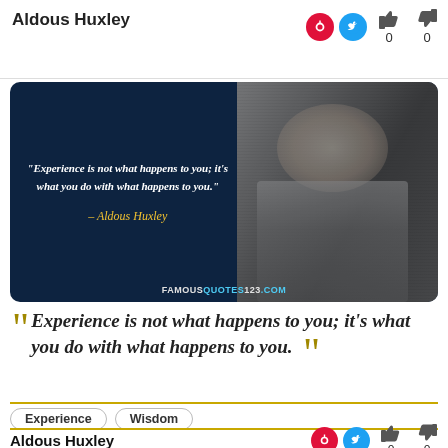Aldous Huxley
[Figure (photo): Quote card with dark navy background showing Aldous Huxley portrait and italic white text of the quote, with yellow italic author credit. Watermark: FAMOUSQUOTES123.COM]
“Experience is not what happens to you; it’s what you do with what happens to you.”
Experience
Wisdom
Aldous Huxley
0   0